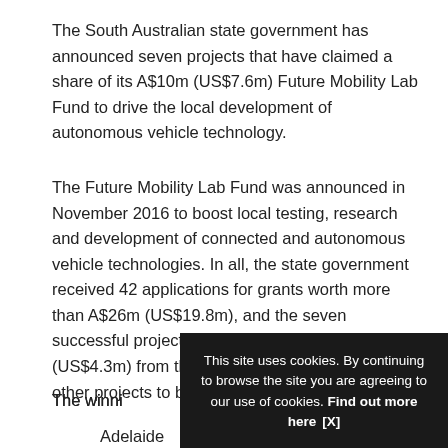The South Australian state government has announced seven projects that have claimed a share of its A$10m (US$7.6m) Future Mobility Lab Fund to drive the local development of autonomous vehicle technology.
The Future Mobility Lab Fund was announced in November 2016 to boost local testing, research and development of connected and autonomous vehicle technologies. In all, the state government received 42 applications for grants worth more than A$26m (US$19.8m), and the seven successful projects will share in A$5.6m (US$4.3m) from the first round of funding, with other projects to be announced soon.
The winning
Adelaide